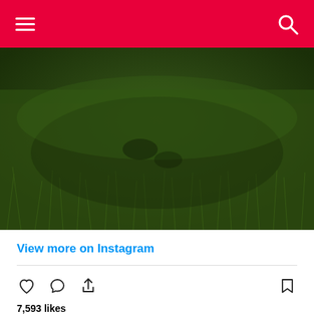Navigation bar with hamburger menu and search icon
[Figure (photo): Aerial or close-up view of thick green grass]
View more on Instagram
[Figure (infographic): Social media action icons: heart (like), comment bubble, share arrow, bookmark]
7,593 likes
juliatrubkina1993
life is one - enjoy every day. forgive insults, love, do not be offended.🖤🤍 #90dayfiance #Brandonandjulia #90dayfiancehappilyeverafter #love
view all 200 comments
Add a comment...